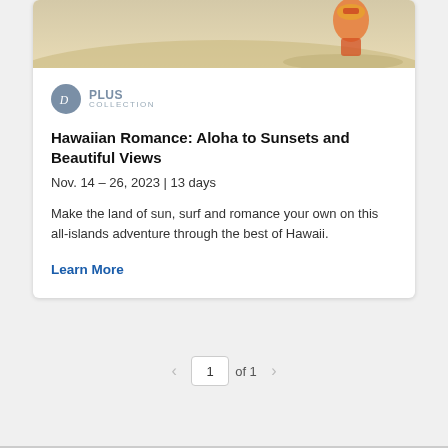[Figure (photo): Partial view of a beach scene with sandy shore and a person in colorful clothing, cropped at the top of the card]
[Figure (logo): Oceania Cruises Plus Collection logo — circular grey emblem with stylized D and the text PLUS COLLECTION]
Hawaiian Romance: Aloha to Sunsets and Beautiful Views
Nov. 14 – 26, 2023 | 13 days
Make the land of sun, surf and romance your own on this all-islands adventure through the best of Hawaii.
Learn More
1 of 1